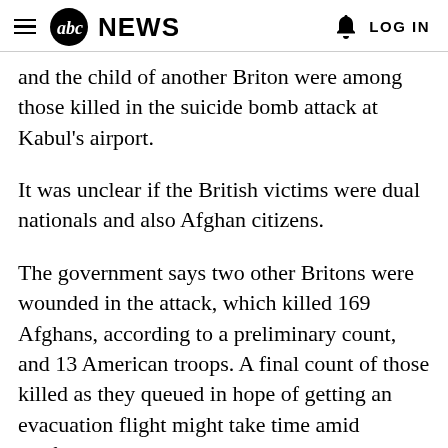abc NEWS  LOG IN
and the child of another Briton were among those killed in the suicide bomb attack at Kabul's airport.
It was unclear if the British victims were dual nationals and also Afghan citizens.
The government says two other Britons were wounded in the attack, which killed 169 Afghans, according to a preliminary count, and 13 American troops. A final count of those killed as they queued in hope of getting an evacuation flight might take time amid confusion, with many bodies dismembered or